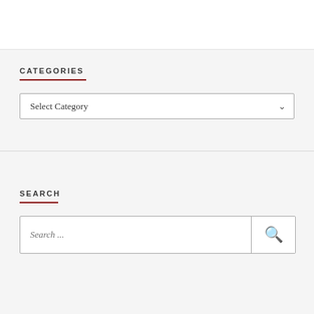CATEGORIES
[Figure (screenshot): A dropdown select widget with placeholder text 'Select Category' and a chevron arrow on the right.]
SEARCH
[Figure (screenshot): A search input field with placeholder text 'Search ...' and a magnifying glass search button on the right.]